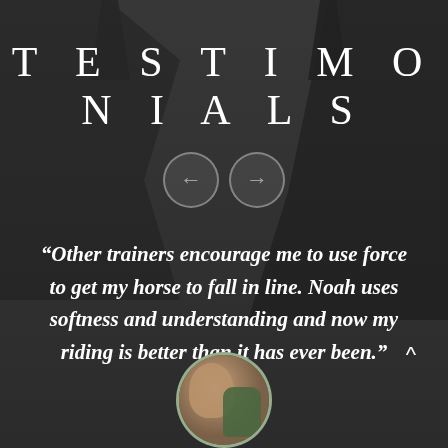TESTIMONIALS
[Figure (illustration): Navigation arrows (left and right) inside circular outline buttons, overlaid on dark horse background]
“Other trainers encourage me to use force to get my horse to fall in line. Noah uses softness and understanding and now my riding is better than it has ever been.”
[Figure (photo): Circular avatar photo of a person with a horse outdoors]